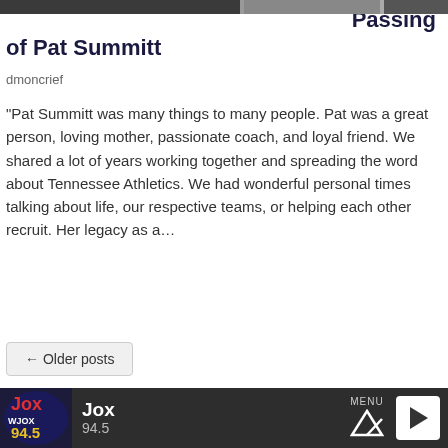[Figure (photo): Top portion of article page showing cropped photo strip at the very top]
Passing of Pat Summitt
dmoncrief
“Pat Summitt was many things to many people. Pat was a great person, loving mother, passionate coach, and loyal friend. We shared a lot of years working together and spreading the word about Tennessee Athletics. We had wonderful personal times talking about life, our respective teams, or helping each other recruit. Her legacy as a…
← Older posts
Privacy Policy   Terms of Service   General Contest Rules
Jox 94.5 MENU